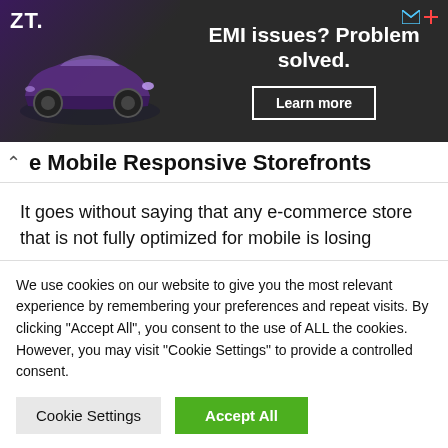[Figure (illustration): Advertisement banner with dark background, ZT logo, car illustration in purple tones, text 'EMI issues? Problem solved.' and a 'Learn more' button]
e Mobile Responsive Storefronts
It goes without saying that any e-commerce store that is not fully optimized for mobile is losing money.
StreamStore not only includes attractive store
We use cookies on our website to give you the most relevant experience by remembering your preferences and repeat visits. By clicking "Accept All", you consent to the use of ALL the cookies. However, you may visit "Cookie Settings" to provide a controlled consent.
Cookie Settings | Accept All